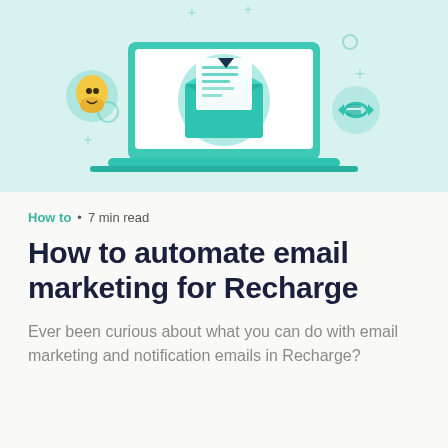[Figure (illustration): Light teal background illustration showing a laptop with an open email envelope containing a letter on screen. Around the laptop are icons including a Mailchimp monkey logo on the left, a refresh/cycle icon on the right, and decorative plus signs and circles. The color scheme is teal/turquoise and dark navy.]
How to • 7 min read
How to automate email marketing for Recharge
Ever been curious about what you can do with email marketing and notification emails in Recharge?